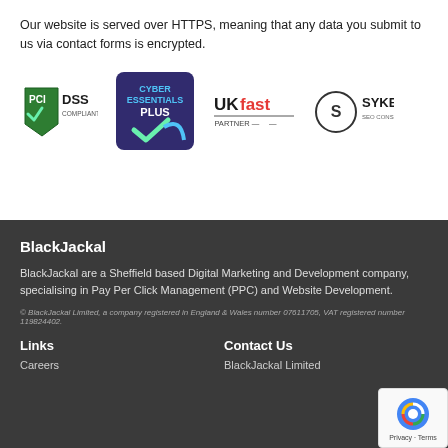Our website is served over HTTPS, meaning that any data you submit to us via contact forms is encrypted.
[Figure (logo): PCI DSS Compliant logo, Cyber Essentials Plus logo, UKFast Partner logo, Sykes SEO Consultancy logo]
BlackJackal
BlackJackal are a Sheffield based Digital Marketing and Development company, specialising in Pay Per Click Management (PPC) and Website Development.
© BlackJackal Limited, a company registered in England & Wales number 07611705, VAT registered number 119824402.
Links
Careers
Contact Us
BlackJackal Limited